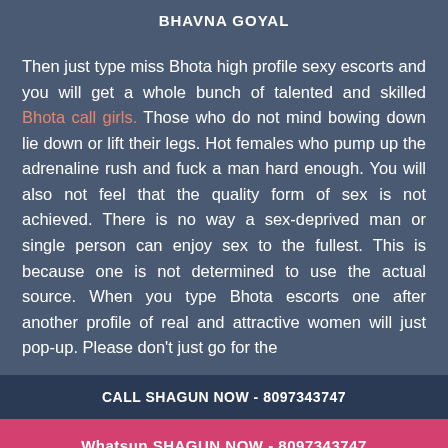[Figure (photo): Partial photo of a person, cropped showing upper body against a yellowish-green background]
BHAVNA GOYAL
Then just type miss Bhota high profile sexy escorts and you will get a whole bunch of talented and skilled Bhota call girls. Those who do not mind bowing down lie down or lift their legs. Hot females who pump up the adrenaline rush and fuck a man hard enough. You will also not feel that the quality form of sex is not achieved. There is no way a sex-deprived man or single person can enjoy sex to the fullest. This is because one is not determined to use the actual source. When you type Bhota escorts one after another profile of real and attractive women will just pop-up. Please don't just go for the
CALL SHAGUN NOW - 8097343747
Whatsup SHAGUN NOW - 8097343747